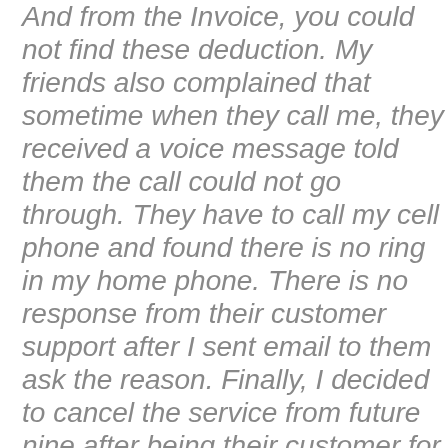And from the Invoice, you could not find these deduction. My friends also complained that sometime when they call me, they received a voice message told them the call could not go through. They have to call my cell phone and found there is no ring in my home phone. There is no response from their customer support after I sent email to them ask the reason. Finally, I decided to cancel the service from future nine after being their customer for more than 5 years. I received a message from them and told me there is $15 cancellation fee and the remain balance in my account is nonrefundable. After I